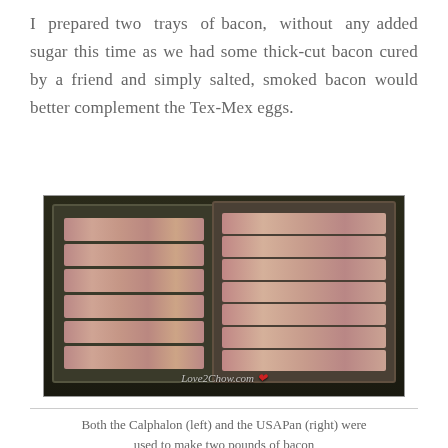I prepared two trays of bacon, without any added sugar this time as we had some thick-cut bacon cured by a friend and simply salted, smoked bacon would better complement the Tex-Mex eggs.
[Figure (photo): Two baking trays filled with strips of thick-cut bacon arranged in rows. The left tray is a Calphalon pan and the right tray is a USAPan. A watermark reads 'Love2Chow.com' with a heart icon.]
Both the Calphalon (left) and the USAPan (right) were used to make two pounds of bacon